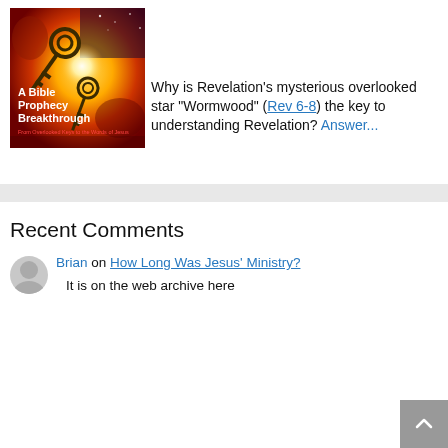[Figure (photo): Book cover image: 'A Bible Prophecy Breakthrough: From Overlooked Keys to the Words of Jesus' with keys and bright light imagery]
Why is Revelation's mysterious overlooked star "Wormwood" (Rev 6-8) the key to understanding Revelation? Answer...
Recent Comments
Brian on How Long Was Jesus' Ministry?
It is on the web archive here